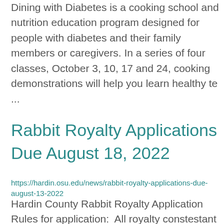Dining with Diabetes is a cooking school and nutrition education program designed for people with diabetes and their family members or caregivers. In a series of four classes, October 3, 10, 17 and 24, cooking demonstrations will help you learn healthy te...
Rabbit Royalty Applications Due August 18, 2022
https://hardin.osu.edu/news/rabbit-royalty-applications-due-august-13-2022
Hardin County Rabbit Royalty Application Rules for application:  All royalty constestant must be taking 4-H projects 225 and/or 226